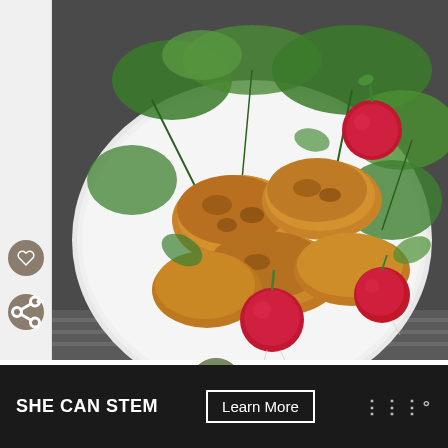[Figure (photo): Overhead photo of golden-brown fried chicken pieces on a white plate, garnished with fresh cilantro and whole red radishes, placed on a striped cloth.]
WHAT'S NEXT → Grilled Fig Salad with...
My Favorite Kitchen Hack ~ Pop & Squeeze Oven Charred Chick...
[Figure (infographic): Advertisement banner: SHE CAN STEM — Learn More, with logo marks]